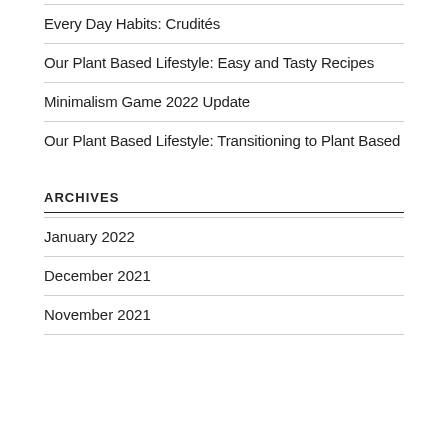Every Day Habits: Crudités
Our Plant Based Lifestyle: Easy and Tasty Recipes
Minimalism Game 2022 Update
Our Plant Based Lifestyle: Transitioning to Plant Based
ARCHIVES
January 2022
December 2021
November 2021